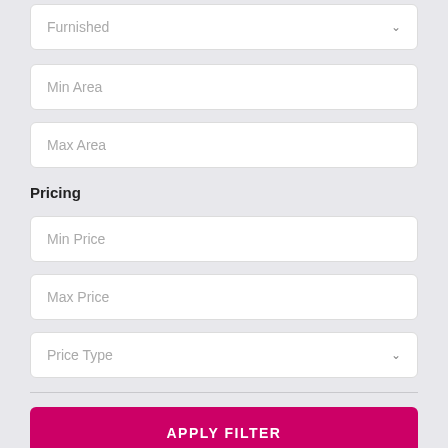Furnished
Min Area
Max Area
Pricing
Min Price
Max Price
Price Type
APPLY FILTER